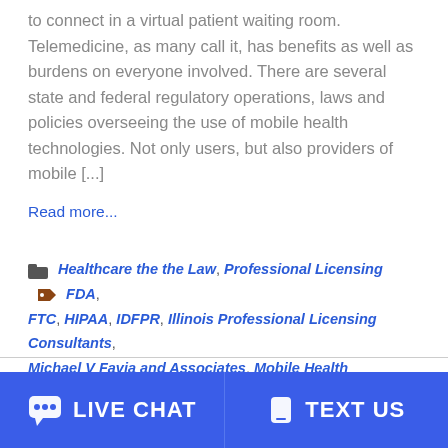to connect in a virtual patient waiting room. Telemedicine, as many call it, has benefits as well as burdens on everyone involved. There are several state and federal regulatory operations, laws and policies overseeing the use of mobile health technologies. Not only users, but also providers of mobile [...]
Read more...
Healthcare the the Law, Professional Licensing    FDA, FTC, HIPAA, IDFPR, Illinois Professional Licensing Consultants, Michael V Favia and Associates, Mobile Health Technology, Telemedicine
LIVE CHAT   TEXT US